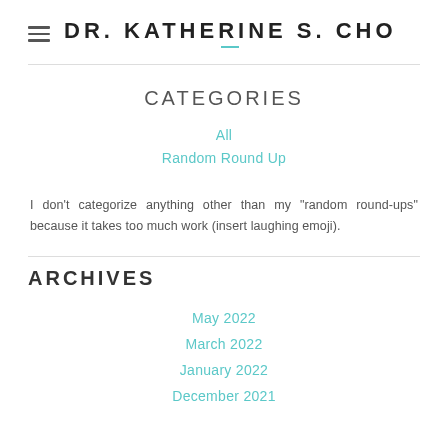DR. KATHERINE S. CHO
CATEGORIES
All
Random Round Up
I don't categorize anything other than my "random round-ups" because it takes too much work (insert laughing emoji).
ARCHIVES
May 2022
March 2022
January 2022
December 2021